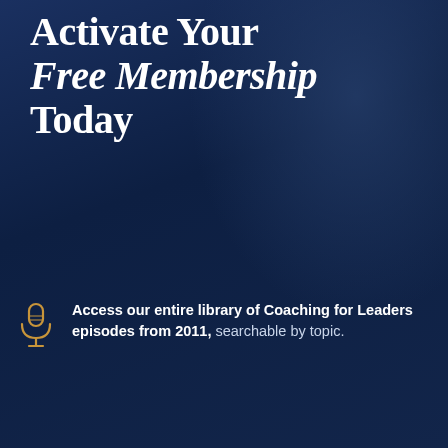Activate Your Free Membership Today
Access our entire library of Coaching for Leaders episodes from 2011, searchable by topic.
Listen to the exclusive Coaching for Leaders MemberCast with bonus content available only to members.
Start Dave's free audio course, 10 Ways